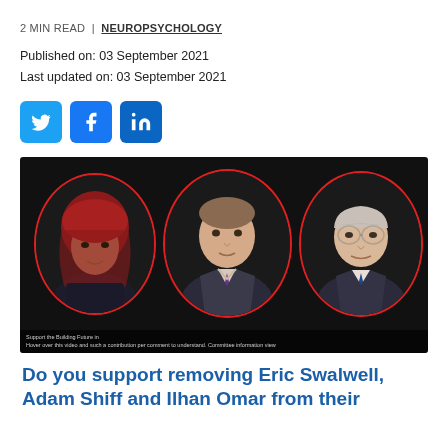2 MIN READ | NEUROPSYCHOLOGY
Published on: 03 September 2021
Last updated on: 03 September 2021
[Figure (other): Social share buttons: Twitter, Facebook, LinkedIn]
[Figure (photo): Three people shown in red-circled portrait frames on a black background. A woman in a red headscarf on the left, a man in a suit in the center, and an older man in a suit on the right. Caption text at the bottom.]
Do you support removing Eric Swalwell, Adam Shiff and Ilhan Omar from their